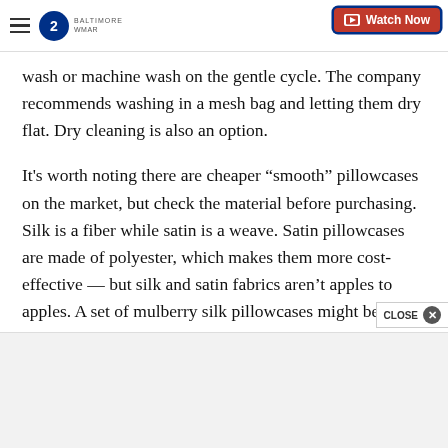ABC 2 Baltimore WMAR — Watch Now
wash or machine wash on the gentle cycle. The company recommends washing in a mesh bag and letting them dry flat. Dry cleaning is also an option.
It’s worth noting there are cheaper “smooth” pillowcases on the market, but check the material before purchasing. Silk is a fiber while satin is a weave. Satin pillowcases are made of polyester, which makes them more cost-effective — but silk and satin fabrics aren’t apples to apples. A set of mulberry silk pillowcases might be worth the cost if they really do help you get your beauty sleep.